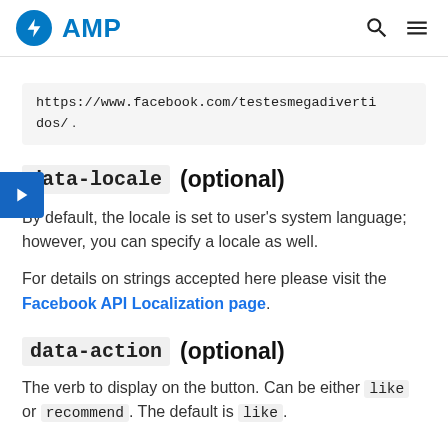AMP
https://www.facebook.com/testesmegadivertidos/ .
data-locale (optional)
By default, the locale is set to user's system language; however, you can specify a locale as well.
For details on strings accepted here please visit the Facebook API Localization page.
data-action (optional)
The verb to display on the button. Can be either like or recommend. The default is like.